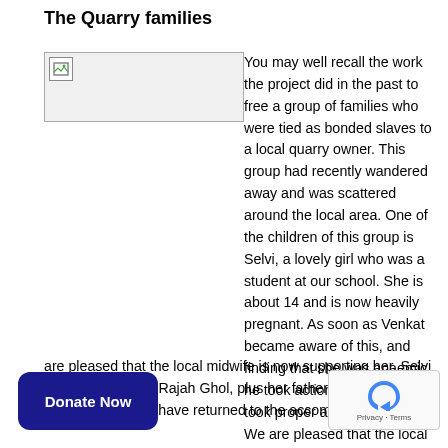The Quarry families
[Figure (photo): Broken image placeholder on left side]
You may well recall the work the project did in the past to free a group of families who were tied as bonded slaves to a local quarry owner. This group had recently wandered away and was scattered around the local area. One of the children of this group is Selvi, a lovely girl who was a student at our school. She is about 14 and is now heavily pregnant. As soon as Venkat became aware of this, and finding that she was anaemic, he took action to ensure she took proper ante-natal care. We are pleased that the local midwife is now supporting her. Selvi and her husband, Rajah Ghol, plus her father and mother and two other families have returned to the accommodation at our [project]. Rajah Ghol is now employed doing odd jobs for the project. We are also ensuring regular nutrition for mother-to-be Selvi. Here she is attending the local health